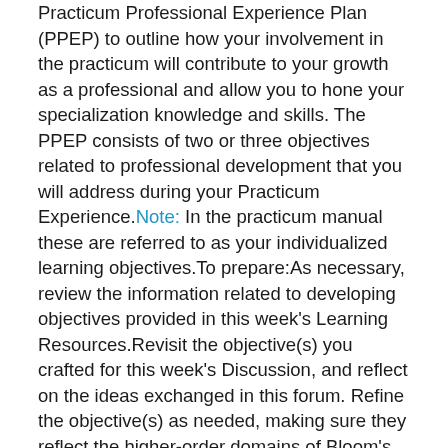Practicum Professional Experience Plan (PPEP) to outline how your involvement in the practicum will contribute to your growth as a professional and allow you to hone your specialization knowledge and skills. The PPEP consists of two or three objectives related to professional development that you will address during your Practicum Experience.Note: In the practicum manual these are referred to as your individualized learning objectives.To prepare:As necessary, review the information related to developing objectives provided in this week's Learning Resources.Revisit the objective(s) you crafted for this week's Discussion, and reflect on the ideas exchanged in this forum. Refine the objective(s) as needed, making sure they reflect the higher-order domains of Bloom's Taxonomy (i.e., Application level and above). Note: You will be developing two to three professional development objectives for this assignment.Think